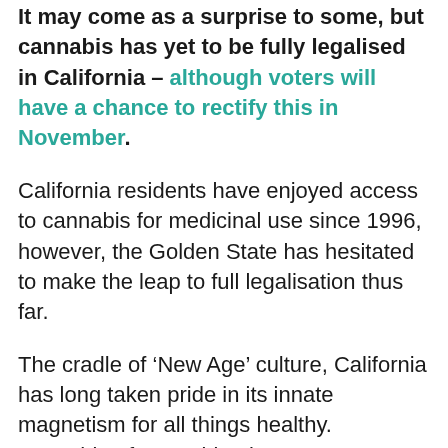It may come as a surprise to some, but cannabis has yet to be fully legalised in California – although voters will have a chance to rectify this in November.
California residents have enjoyed access to cannabis for medicinal use since 1996, however, the Golden State has hesitated to make the leap to full legalisation thus far.
The cradle of ‘New Age’ culture, California has long taken pride in its innate magnetism for all things healthy. Everything from spiritual retreats to spinach risotto seems to have found opportunity via the social entrepreneurs that